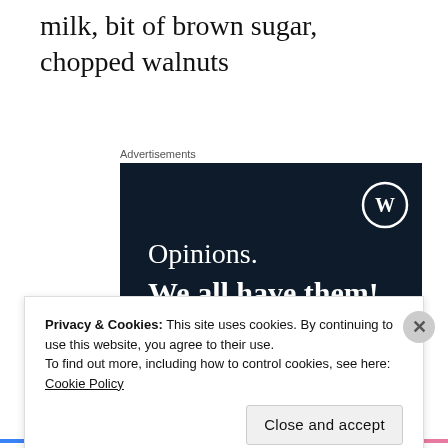milk, bit of brown sugar, chopped walnuts
Advertisements
[Figure (other): WordPress.com advertisement banner with dark navy background. Shows WordPress logo (W in circle) top right, text 'Opinions. We all have them!' in white, a pink 'Start a survey' button, and a CrowdSignal logo circle in the bottom right.]
Privacy & Cookies: This site uses cookies. By continuing to use this website, you agree to their use.
To find out more, including how to control cookies, see here: Cookie Policy
Close and accept